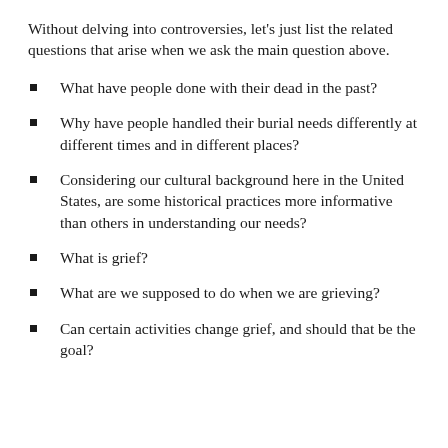Without delving into controversies, let’s just list the related questions that arise when we ask the main question above.
What have people done with their dead in the past?
Why have people handled their burial needs differently at different times and in different places?
Considering our cultural background here in the United States, are some historical practices more informative than others in understanding our needs?
What is grief?
What are we supposed to do when we are grieving?
Can certain activities change grief, and should that be the goal?